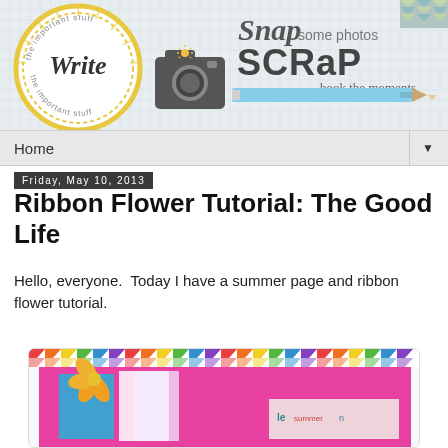[Figure (logo): Snap Some Photos SCRaP book the moments blog header banner with Write script in a circle badge, camera icon, and pencil]
Home ▼
Friday, May 10, 2013
Ribbon Flower Tutorial: The Good Life
Hello, everyone.  Today I have a summer page and ribbon flower tutorial.
[Figure (photo): Colorful scrapbook page with chevron border, pink background, and orange ribbon flower embellishment]